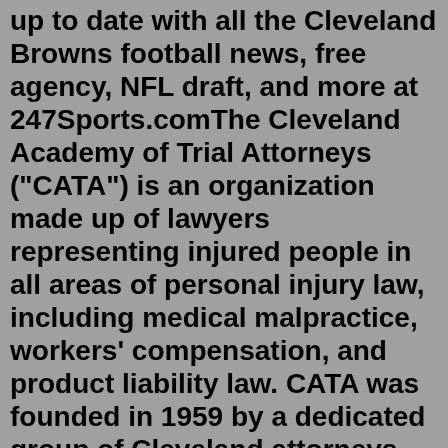up to date with all the Cleveland Browns football news, free agency, NFL draft, and more at 247Sports.comThe Cleveland Academy of Trial Attorneys ("CATA") is an organization made up of lawyers representing injured people in all areas of personal injury law, including medical malpractice, workers' compensation, and product liability law. CATA was founded in 1959 by a dedicated group of Cleveland attorneys with the goal of helping trial ...33.9k Followers, 294 Following, 1,705 Posts - See Instagram photos and videos from ESPN Cleveland (@espncleveland)13 hours ago · Cleveland Browns quarterback Deshaun Watson will serve an 11-game unpaid suspension, pay a $5 million fine and undergo professional evaluation and treatment as part of a settlement with the NFL following accusations of sexual misconduct by two dozen women. Cleveland Browns Home: The official source of the latest Browns headlines, news, videos, photos, tickets, rosters, stats, schedule, and gameday informationCleveland Browns Home: The official